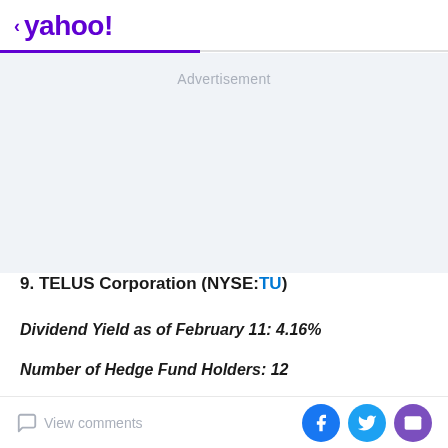< yahoo!
Advertisement
9. TELUS Corporation (NYSE:TU)
Dividend Yield as of February 11: 4.16%
Number of Hedge Fund Holders: 12
Headquartered in Vancouver, British Columbia, TELUS
View comments